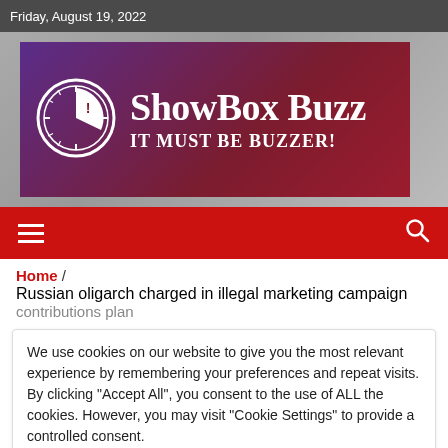Friday, August 19, 2022
[Figure (logo): ShowBox Buzz logo banner with clock icon, purple-to-red gradient background, text 'ShowBox Buzz IT MUST BE BUZZER!']
≡ (hamburger menu) and search icon navigation bar
Home / Russian oligarch charged in illegal marketing campaign contributions plan
We use cookies on our website to give you the most relevant experience by remembering your preferences and repeat visits. By clicking "Accept All", you consent to the use of ALL the cookies. However, you may visit "Cookie Settings" to provide a controlled consent.